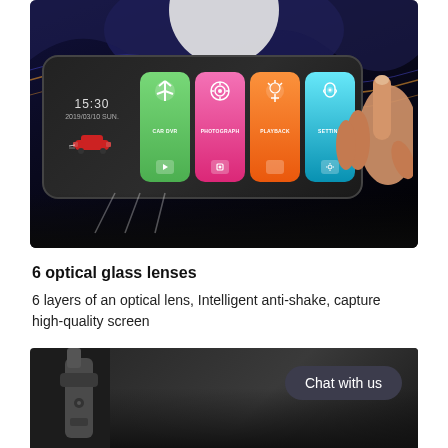[Figure (photo): Car dash cam mirror with touchscreen showing menu buttons: CAR DVR (green), PHOTOGRAPH (pink), PLAYBACK (orange), SETTING (blue), with time 15:30, date 2019/03/10 SUN., and a hand pointing at the PLAYBACK button]
6 optical glass lenses
6 layers of an optical lens, Intelligent anti-shake, capture high-quality screen
[Figure (photo): Bottom portion of a car dash cam mount bracket shown on a dark background, with a dark rounded chat bubble reading 'Chat with us' in the upper right]